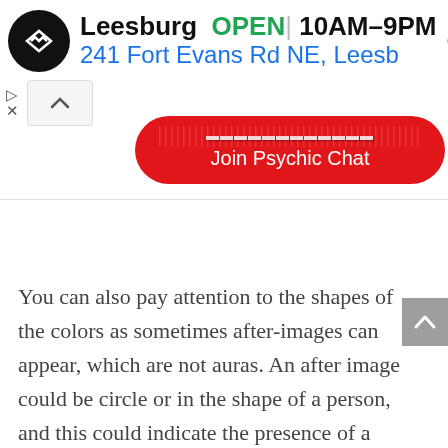[Figure (screenshot): Advertisement banner for a Leesburg store showing logo, OPEN status, hours 10AM-9PM, address 241 Fort Evans Rd NE, Leesb, navigation icon, and a red Join Psychic Chat button]
You can also pay attention to the shapes of the colors as sometimes after-images can appear, which are not auras. An after image could be circle or in the shape of a person, and this could indicate the presence of a spiritual guide beside your subject.